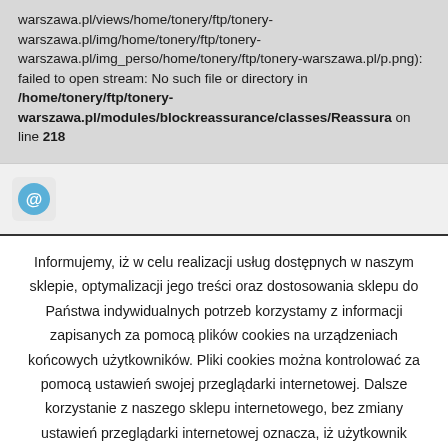warszawa.pl/views/home/tonery/ftp/tonery-warszawa.pl/img/home/tonery/ftp/tonery-warszawa.pl/img_perso/home/tonery/ftp/tonery-warszawa.pl/p.png): failed to open stream: No such file or directory in /home/tonery/ftp/tonery-warszawa.pl/modules/blockreassurance/classes/Reassura on line 218
[Figure (illustration): Email/envelope icon with @ symbol, blue color]
Informujemy, iż w celu realizacji usług dostępnych w naszym sklepie, optymalizacji jego treści oraz dostosowania sklepu do Państwa indywidualnych potrzeb korzystamy z informacji zapisanych za pomocą plików cookies na urządzeniach końcowych użytkowników. Pliki cookies można kontrolować za pomocą ustawień swojej przeglądarki internetowej. Dalsze korzystanie z naszego sklepu internetowego, bez zmiany ustawień przeglądarki internetowej oznacza, iż użytkownik akceptuje stosowanie plików cookies. Więcej informacji zawartych jest w polityce prywatności sklepu.
Akceptuję   Polityka prywatności